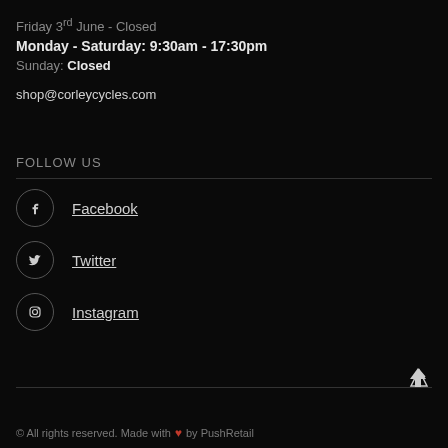Friday 3rd June - Closed
Monday - Saturday: 9:30am - 17:30pm
Sunday: Closed
shop@corleycycles.com
FOLLOW US
Facebook
Twitter
Instagram
© All rights reserved. Made with ♥ by PushRetail